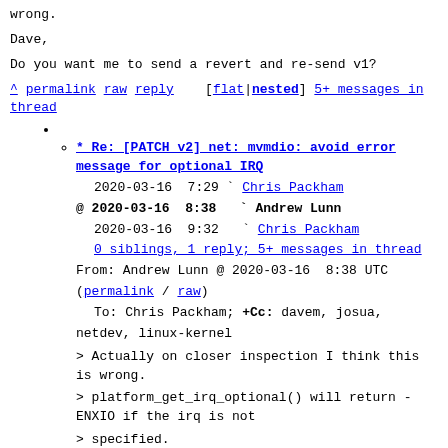wrong.
Dave,
Do you want me to send a revert and re-send v1?
^ permalink raw reply    [flat|nested] 5+ messages in thread
* Re: [PATCH v2] net: mvmdio: avoid error message for optional IRQ
2020-03-16  7:29  ` Chris Packham
@ 2020-03-16  8:38  ` Andrew Lunn
  2020-03-16  9:32  ` Chris Packham
  0 siblings, 1 reply; 5+ messages in thread
From: Andrew Lunn @ 2020-03-16  8:38 UTC (permalink / raw)
  To: Chris Packham; +Cc: davem, josua, netdev, linux-kernel

> Actually on closer inspection I think this is wrong.
> platform_get_irq_optional() will return -ENXIO if the irq is not
> specified.

The _optional is then pointless. And different to all the other